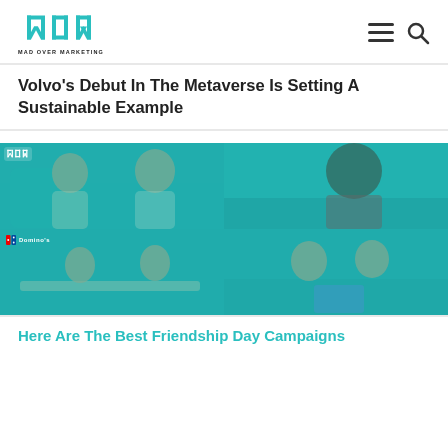MAD OVER MARKETING
Volvo's Debut In The Metaverse Is Setting A Sustainable Example
[Figure (photo): A 2x2 collage of four teal/cyan tinted images showing people in social settings: top left shows two women laughing on a couch, top right shows a man wearing a helmet outdoors, bottom left shows a man and woman at a table with Domino's logo overlay, bottom right shows two women smiling and holding a box.]
Here Are The Best Friendship Day Campaigns